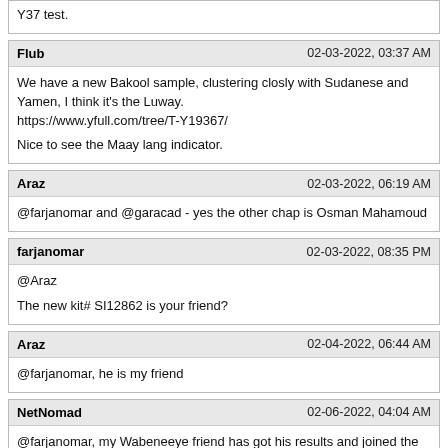Y37 test.
Flub
02-03-2022, 03:37 AM
We have a new Bakool sample, clustering closly with Sudanese and Yamen, I think it's the Luway.
https://www.yfull.com/tree/T-Y19367/

Nice to see the Maay lang indicator.
Araz
02-03-2022, 06:19 AM
@farjanomar and @garacad - yes the other chap is Osman Mahamoud
farjanomar
02-03-2022, 08:35 PM
@Araz

The new kit# SI12862 is your friend?
Araz
02-04-2022, 06:44 AM
@farjanomar, he is my friend
NetNomad
02-06-2022, 04:04 AM
@farjanomar, my Wabeneeye friend has got his results and joined the Somali DNA Project. It will be interesting where he falls.

If you can, advise him to get Nebula. His STRs are quite different from the others in E-Y163949. He might end up being E-Y163928*.